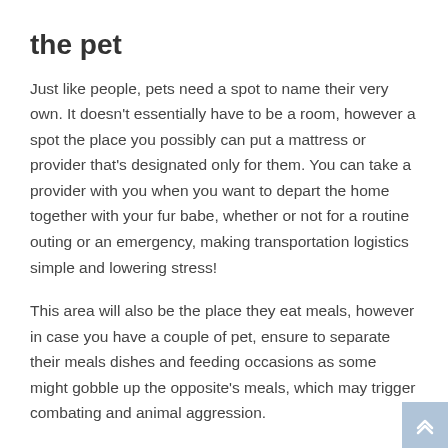the pet
Just like people, pets need a spot to name their very own. It doesn't essentially have to be a room, however a spot the place you possibly can put a mattress or provider that's designated only for them. You can take a provider with you when you want to depart the home together with your fur babe, whether or not for a routine outing or an emergency, making transportation logistics simple and lowering stress!
This area will also be the place they eat meals, however in case you have a couple of pet, ensure to separate their meals dishes and feeding occasions as some might gobble up the opposite's meals, which may trigger combating and animal aggression.